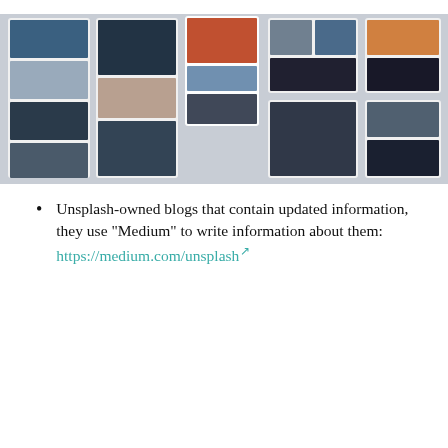[Figure (screenshot): Screenshot collage of Unsplash website showing multiple photo gallery pages with landscape and nature images]
For those of you who want to find out more about Unsplash, on the Unsplash main page there are also several important menus to refer you to important information, including the following:
General description of Unsplash:
https://unsplash.com/about
https://unsplash.com/history
Unsplash-owned blogs that contain updated information, they use "Medium" to write information about them:
https://medium.com/unsplash